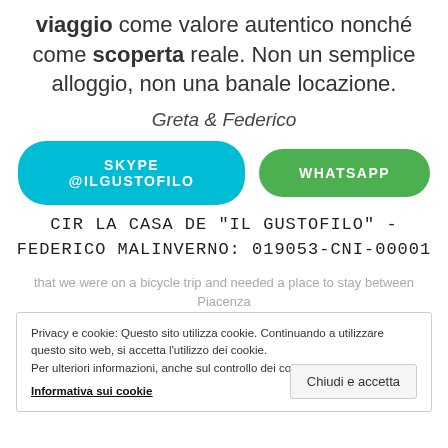viaggio come valore autentico nonché come scoperta reale. Non un semplice alloggio, non una banale locazione.
Greta & Federico
SKYPE @ILGUSTOFILO
WHATSAPP
CIR LA CASA DE "IL GUSTOFILO" - FEDERICO MALINVERNO: 019053-CNI-00001
Privacy e cookie: Questo sito utilizza cookie. Continuando a utilizzare questo sito web, si accetta l'utilizzo dei cookie.
Per ulteriori informazioni, anche sul controllo dei cookie, leggi qui: Informativa sui cookie
that we were on a bicycle trip and needed a place to stay between Piacenza
didn't think we'd find much in the town other
Chiudi e accetta